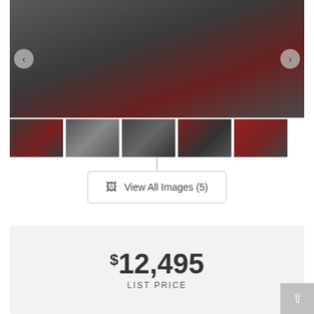[Figure (photo): Main image of a large red/dark semi truck viewed from the front-side, with thumbnails below. Navigation arrows on left and right of image.]
View All Images (5)
$12,495
LIST PRICE